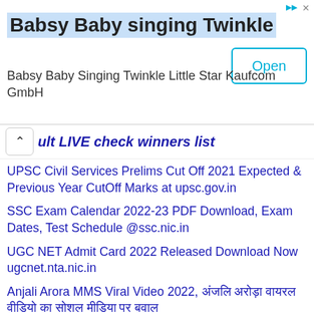[Figure (screenshot): Advertisement banner for 'Babsy Baby singing Twinkle' app by Kaufcom GmbH with an Open button]
ult LIVE check winners list
UPSC Civil Services Prelims Cut Off 2021 Expected & Previous Year CutOff Marks at upsc.gov.in
SSC Exam Calendar 2022-23 PDF Download, Exam Dates, Test Schedule @ssc.nic.in
UGC NET Admit Card 2022 Released Download Now ugcnet.nta.nic.in
Anjali Arora MMS Viral Video 2022, अंजलि अरोड़ा वायरल वीडियो का सोशल मीडिया पर बवाल
HP TET Result 2022 Check Release date and time download HPBOSE TET Result @hpbose.org